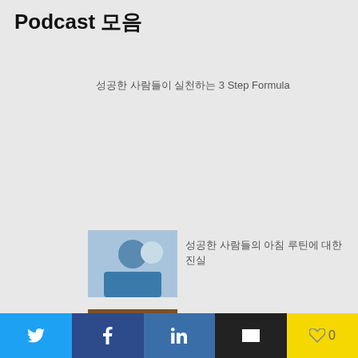Podcast 모음
성공한 사람들이 실천하는 3 Step Formula
[Figure (photo): Person in blue shirt, medical/professional setting]
성공한 사람들의 아침 루틴에 대한 진실
[Figure (photo): Notebook with pen on wooden table]
성공 사례로 배우는 브랜딩 전략 이 책 한 권 한 줄
블래쉬리쉬 당신의 새벽 시간을 활용 하는 방법에 대한 블래쉬리쉬
[Figure (photo): Man in blue shirt with Korean text overlay]